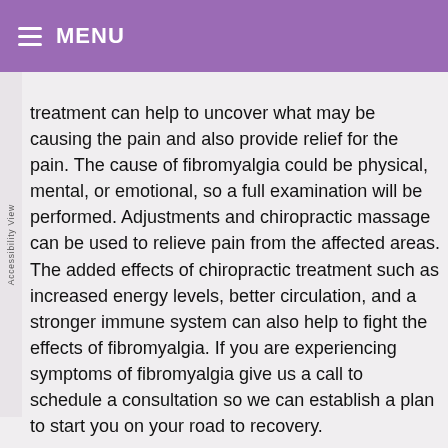MENU
treatment can help to uncover what may be causing the pain and also provide relief for the pain. The cause of fibromyalgia could be physical, mental, or emotional, so a full examination will be performed. Adjustments and chiropractic massage can be used to relieve pain from the affected areas. The added effects of chiropractic treatment such as increased energy levels, better circulation, and a stronger immune system can also help to fight the effects of fibromyalgia. If you are experiencing symptoms of fibromyalgia give us a call to schedule a consultation so we can establish a plan to start you on your road to recovery.
(1)Source: http://www.ncbi.nlm.nih.gov/pubmed/15965403?dopt=A...